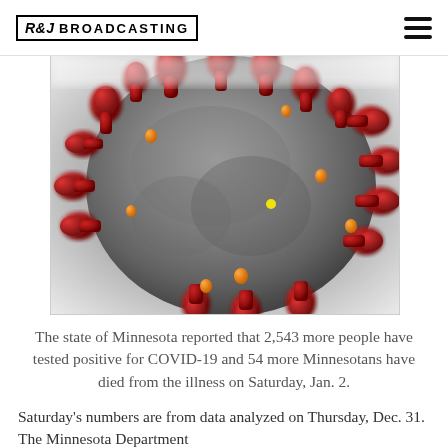R&J BROADCASTING
[Figure (photo): Close-up microscope illustration of a coronavirus particle showing red spike proteins on a grey spherical surface with orange accent nodes]
The state of Minnesota reported that 2,543 more people have tested positive for COVID-19 and 54 more Minnesotans have died from the illness on Saturday, Jan. 2.
Saturday's numbers are from data analyzed on Thursday, Dec. 31. The Minnesota Department